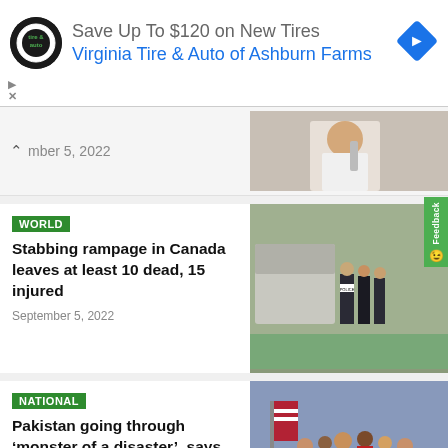[Figure (screenshot): Advertisement banner: Save Up To $120 on New Tires - Virginia Tire & Auto of Ashburn Farms, with circular logo and blue diamond arrow icon]
mber 5, 2022
[Figure (photo): Person in white shirt holding a microphone]
WORLD
Stabbing rampage in Canada leaves at least 10 dead, 15 injured
September 5, 2022
[Figure (photo): Police officers standing near a van outdoors]
NATIONAL
Pakistan going through ‘monster of a disaster’, says US Congresswoman
September 5, 2022
[Figure (photo): Group of people at a press conference with US flags]